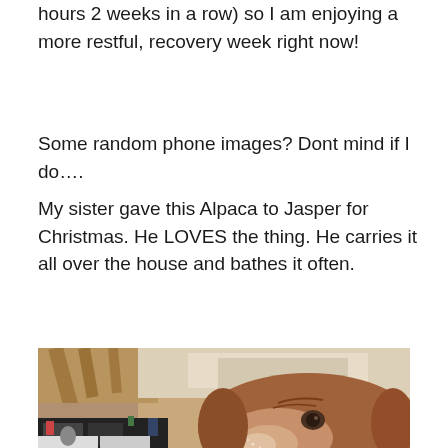hours 2 weeks in a row) so I am enjoying a more restful, recovery week right now!
Some random phone images? Dont mind if I do….
My sister gave this Alpaca to Jasper for Christmas. He LOVES the thing. He carries it all over the house and bathes it often.
[Figure (photo): A brown dog with long floppy ears resting its head, looking at the camera. Background shows a wood-beamed ceiling and a black shelving unit with various items.]